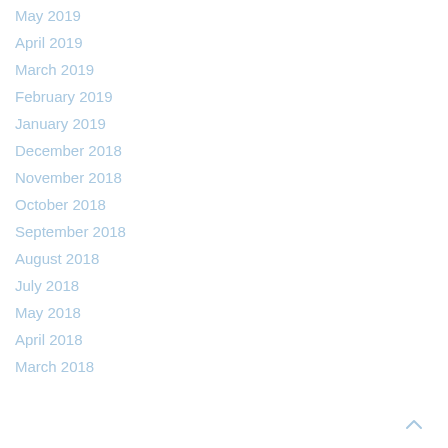May 2019
April 2019
March 2019
February 2019
January 2019
December 2018
November 2018
October 2018
September 2018
August 2018
July 2018
May 2018
April 2018
March 2018